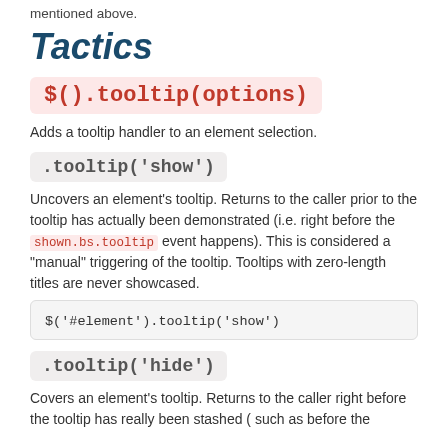mentioned above.
Tactics
$().tooltip(options)
Adds a tooltip handler to an element selection.
.tooltip('show')
Uncovers an element's tooltip. Returns to the caller prior to the tooltip has actually been demonstrated (i.e. right before the shown.bs.tooltip event happens). This is considered a "manual" triggering of the tooltip. Tooltips with zero-length titles are never showcased.
$('#element').tooltip('show')
.tooltip('hide')
Covers an element's tooltip. Returns to the caller right before the tooltip has really been stashed ( such as before the